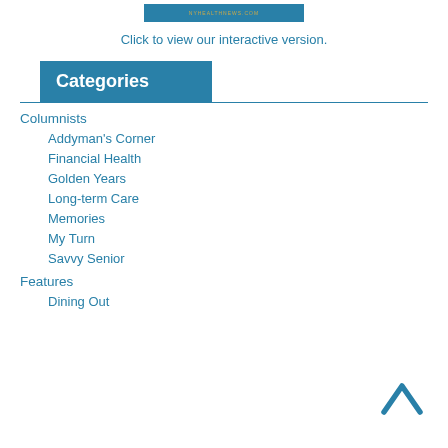[Figure (logo): NYHealthNews.com banner logo with teal background]
Click to view our interactive version.
Categories
Columnists
Addyman's Corner
Financial Health
Golden Years
Long-term Care
Memories
My Turn
Savvy Senior
Features
Dining Out